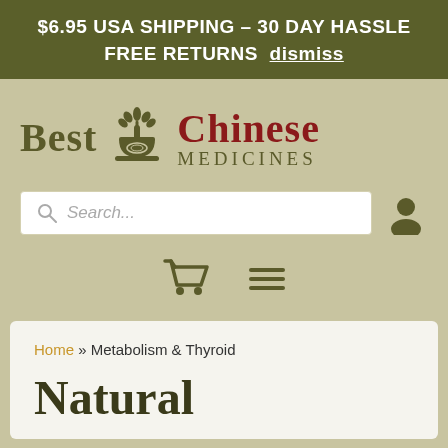$6.95 USA SHIPPING – 30 DAY HASSLE FREE RETURNS  dismiss
[Figure (logo): Best Chinese Medicines logo with mortar and pestle plant icon]
[Figure (screenshot): Search bar with magnifying glass icon and user account icon]
[Figure (screenshot): Shopping cart icon and hamburger menu icon]
Home » Metabolism & Thyroid
Natural